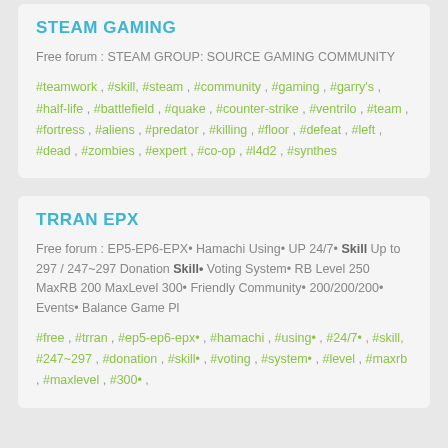STEAM GAMING
Free forum : STEAM GROUP: SOURCE GAMING COMMUNITY
#teamwork , #skill, #steam , #community , #gaming , #garry's , #half-life , #battlefield , #quake , #counter-strike , #ventrilo , #team , #fortress , #aliens , #predator , #killing , #floor , #defeat , #left , #dead , #zombies , #expert , #co-op , #l4d2 , #synthes
TRRAN EPX
Free forum : EP5-EP6-EPX• Hamachi Using• UP 24/7• Skill Up to 297 / 247~297 Donation Skill• Voting System• RB Level 250 MaxRB 200 MaxLevel 300• Friendly Community• 200/200/200• Events• Balance Game Pl
#free , #trran , #ep5-ep6-epx• , #hamachi , #using• , #24/7• , #skill, #247~297 , #donation , #skill• , #voting , #system• , #level , #maxrb , #maxlevel , #300• ,